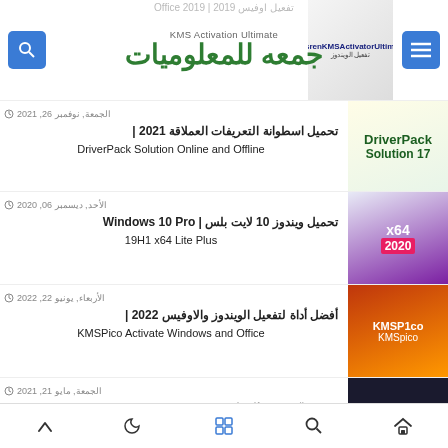جمعه للمعلوميات | KMS Activation Ultimate
الجمعة, نوفمبر 26, 2021 | تحميل اسطوانة التعريفات العملاقة 2021 | DriverPack Solution Online and Offline
الأحد, ديسمبر 06, 2020 | تحميل ويندوز 10 لايت بلس | Windows 10 Pro 19H1 x64 Lite Plus
الأربعاء, يونيو 22, 2022 | أفضل أداة لتفعيل الويندوز والاوفيس 2022 | KMSPico Activate Windows and Office
الجمعة, مايو 21, 2021 | ويندوز إكس بي المطور 2021 | Windows XP
bottom navigation bar